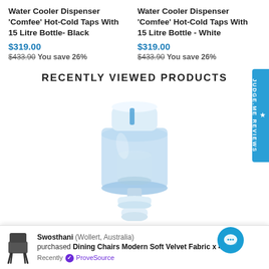Water Cooler Dispenser 'Comfee' Hot-Cold Taps With 15 Litre Bottle- Black
$319.00
$433.90 You save 26%
Water Cooler Dispenser 'Comfee' Hot-Cold Taps With 15 Litre Bottle - White
$319.00
$433.90 You save 26%
RECENTLY VIEWED PRODUCTS
[Figure (photo): A water dispenser/cooler bottle product photo showing a transparent blue bottle with white top and a base stand]
Swosthani (Wollert, Australia) purchased Dining Chairs Modern Soft Velvet Fabric x 4 -...
Recently ✓ ProveSource